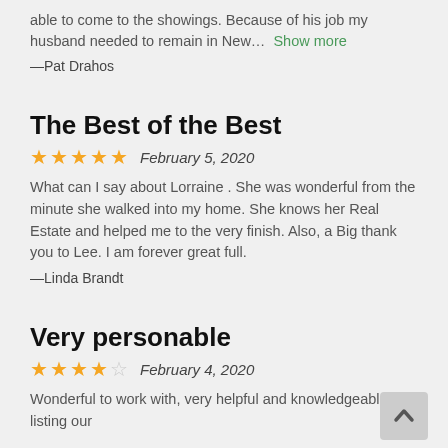able to come to the showings. Because of his job my husband needed to remain in New… Show more
—Pat Drahos
The Best of the Best
★★★★★ February 5, 2020
What can I say about Lorraine . She was wonderful from the minute she walked into my home. She knows her Real Estate and helped me to the very finish. Also, a Big thank you to Lee. I am forever great full.
—Linda Brandt
Very personable
★★★★☆ February 4, 2020
Wonderful to work with, very helpful and knowledgeable listing our